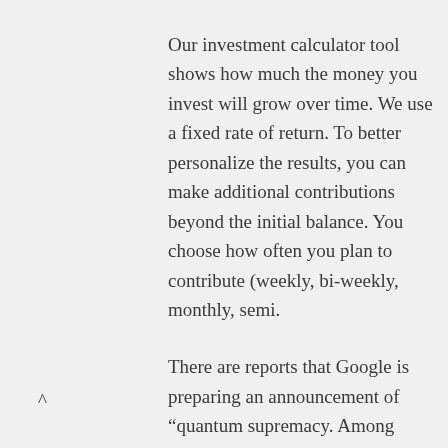Our investment calculator tool shows how much the money you invest will grow over time. We use a fixed rate of return. To better personalize the results, you can make additional contributions beyond the initial balance. You choose how often you plan to contribute (weekly, bi-weekly, monthly, semi.
There are reports that Google is preparing an announcement of “quantum supremacy. Among much else, quantum supremacy will.
Return on Investment Calculator Just input a few key stats about your spam experience to find out how much spam is costing your business and what you could save with